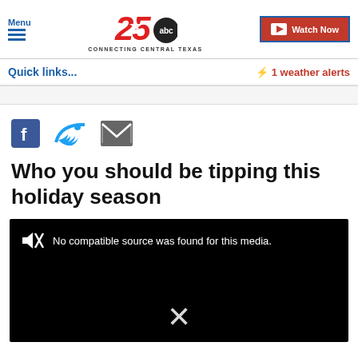Menu | 25 ABC CONNECTING CENTRAL TEXAS | Watch Now
Quick links...
⚡ 1 weather alerts
[Figure (other): Social share icons: Facebook, Twitter, Email]
Who you should be tipping this holiday season
[Figure (screenshot): Black video player with muted icon and text: No compatible source was found for this media. An X close button is visible at the bottom center.]